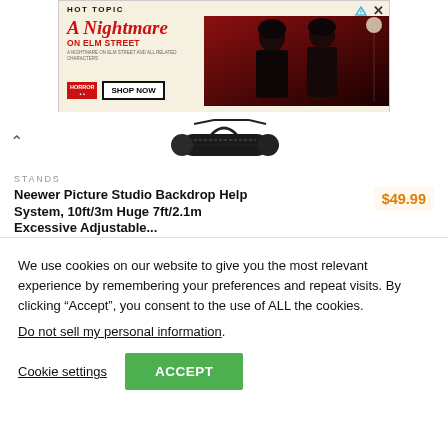[Figure (screenshot): Hot Topic advertisement banner for 'A Nightmare on Elm Street' merchandise with red background showing two people in dark clothing and a 'SHOP NOW' button]
[Figure (photo): Product image of a cylindrical carrying case/bag for a backdrop support system, shown from above on white background]
STANDS
Neewer Picture Studio Backdrop Help System, 10ft/3m Huge 7ft/2.1m Excessive Adjustable...
$49.99
We use cookies on our website to give you the most relevant experience by remembering your preferences and repeat visits. By clicking “Accept”, you consent to the use of ALL the cookies.
Do not sell my personal information.
Cookie settings
ACCEPT